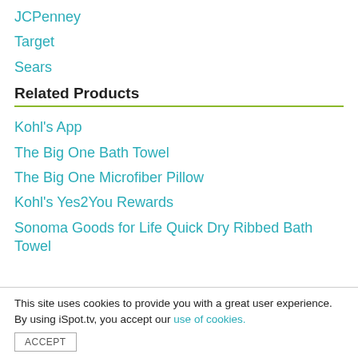JCPenney
Target
Sears
Related Products
Kohl's App
The Big One Bath Towel
The Big One Microfiber Pillow
Kohl's Yes2You Rewards
Sonoma Goods for Life Quick Dry Ribbed Bath Towel
This site uses cookies to provide you with a great user experience. By using iSpot.tv, you accept our use of cookies. ACCEPT